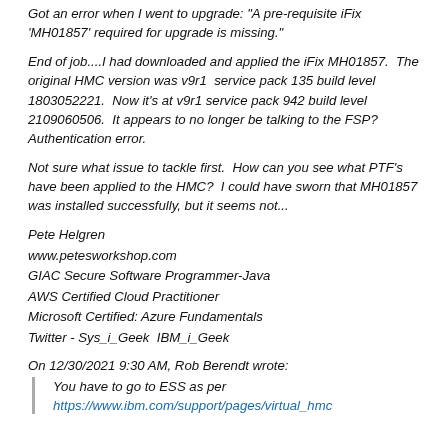Got an error when I went to upgrade: "A pre-requisite iFix 'MH01857' required for upgrade is missing."
End of job....I had downloaded and applied the iFix MH01857. The original HMC version was v9r1 service pack 135 build level 1803052221. Now it's at v9r1 service pack 942 build level 2109060506. It appears to no longer be talking to the FSP? Authentication error.
Not sure what issue to tackle first. How can you see what PTF's have been applied to the HMC? I could have sworn that MH01857 was installed successfully, but it seems not...
Pete Helgren
www.petesworkshop.com
GIAC Secure Software Programmer-Java
AWS Certified Cloud Practitioner
Microsoft Certified: Azure Fundamentals
Twitter - Sys_i_Geek  IBM_i_Geek
On 12/30/2021 9:30 AM, Rob Berendt wrote:
You have to go to ESS as per
https://www.ibm.com/support/pages/virtual_hmc